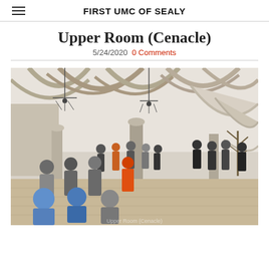FIRST UMC OF SEALY
Upper Room (Cenacle)
5/24/2020  0 Comments
[Figure (photo): Interior of the Upper Room (Cenacle) in Jerusalem showing Gothic vaulted stone arches, ornate columns, and groups of visitors/tourists standing throughout the hall. The room has high ribbed vaulting, stone walls, hanging chandeliers, and tiled floors. A tree or branched decoration is visible on the right side.]